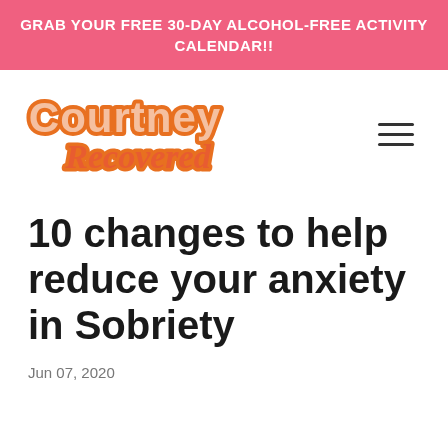GRAB YOUR FREE 30-DAY ALCOHOL-FREE ACTIVITY CALENDAR!!
[Figure (logo): Courtney Recovered logo in orange retro style text]
10 changes to help reduce your anxiety in Sobriety
Jun 07, 2020